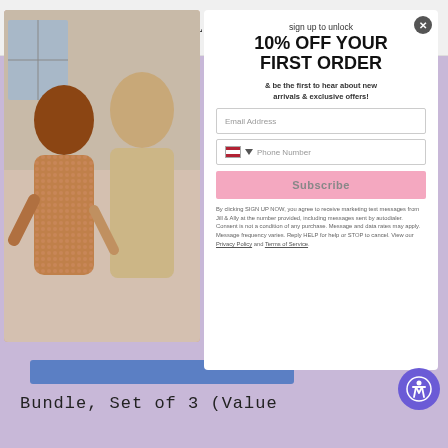JILL & ALLY
[Figure (photo): Two women in dresses posing together; left woman in rose gold sequin mini dress, right woman in cream/gold lace long-sleeve dress]
sign up to unlock
10% OFF YOUR FIRST ORDER
& be the first to hear about new arrivals & exclusive offers!
Email Address
Phone Number
Subscribe
By clicking SIGN UP NOW, you agree to receive marketing text messages from Jill & Ally at the number provided, including messages sent by autodialer. Consent is not a condition of any purchase. Message and data rates may apply. Message frequency varies. Reply HELP for help or STOP to cancel. View our Privacy Policy and Terms of Service.
Bundle, Set of 3 (Value